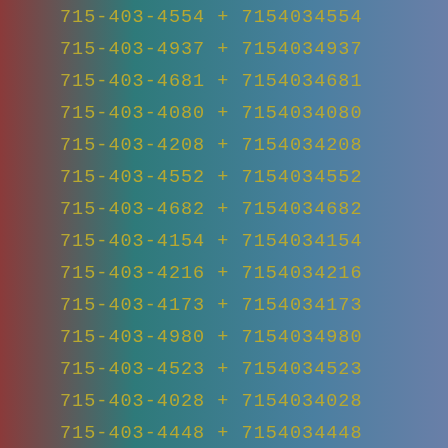715-403-4554 + 7154034554
715-403-4937 + 7154034937
715-403-4681 + 7154034681
715-403-4080 + 7154034080
715-403-4208 + 7154034208
715-403-4552 + 7154034552
715-403-4682 + 7154034682
715-403-4154 + 7154034154
715-403-4216 + 7154034216
715-403-4173 + 7154034173
715-403-4980 + 7154034980
715-403-4523 + 7154034523
715-403-4028 + 7154034028
715-403-4448 + 7154034448
715-403-4771 + 7154034771
715-403-4757 + 7154034757
715-403-4769 + 7154034769
715-403-4408 + 7154034408
715-403-4966 + 7154034966
715-403-4325 + 7154034325
715-403-4673 + 7154034673
715-403-4094 + 7154034094
715-403-4812 + 7154034812